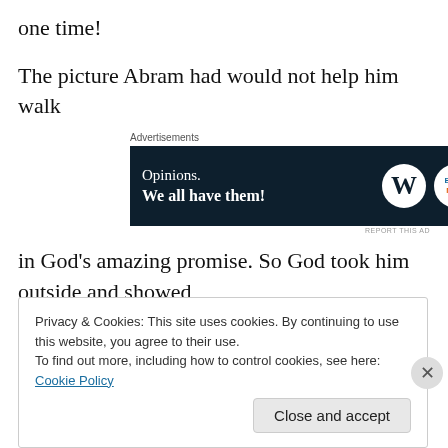one time!
The picture Abram had would not help him walk
[Figure (other): Advertisement banner: dark navy background with text 'Opinions. We all have them!' and WordPress logo and Blog Now logo on the right]
in God’s amazing promise. So God took him outside and showed
Privacy & Cookies: This site uses cookies. By continuing to use this website, you agree to their use.
To find out more, including how to control cookies, see here: Cookie Policy
[Close and accept button]